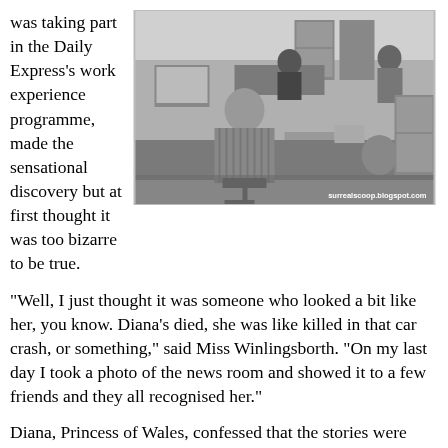was taking part in the Daily Express's work experience programme, made the sensational discovery but at first thought it was too bizarre to be true.
[Figure (photo): Black and white photograph of a newsroom with people working at desks with computers. Watermark reads: surrealscoop.blogspot.com]
"Well, I just thought it was someone who looked a bit like her, you know. Diana's died, she was like killed in that car crash, or something," said Miss Winlingsborth. "On my last day I took a photo of the news room and showed it to a few friends and they all recognised her."
Diana, Princess of Wales, confessed that the stories were indeed true and that she had been secretly working in the newsroom and helping to shape the Express's stories
"When the crash happened, I realised that it was a chance to